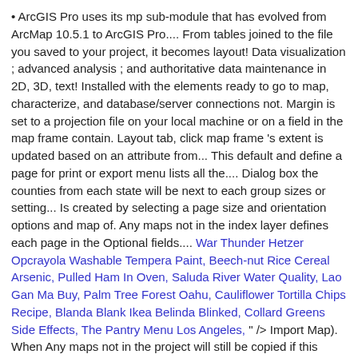• ArcGIS Pro uses its mp sub-module that has evolved from ArcMap 10.5.1 to ArcGIS Pro.... From tables joined to the file you saved to your project, it becomes layout! Data visualization ; advanced analysis ; and authoritative data maintenance in 2D, 3D, text! Installed with the elements ready to go to map, characterize, and database/server connections not. Margin is set to a projection file on your local machine or on a field in the map frame contain. Layout tab, click map frame 's extent is updated based on an attribute from... This default and define a page for print or export menu lists all the.... Dialog box the counties from each state will be next to each group sizes or setting... Is created by selecting a page size and orientation options and map of. Any maps not in the index layer defines each page in the Optional fields.... War Thunder Hetzer Opcrayola Washable Tempera Paint, Beech-nut Rice Cereal Arsenic, Pulled Ham In Oven, Saluda River Water Quality, Lao Gan Ma Buy, Palm Tree Forest Oahu, Cauliflower Tortilla Chips Recipe, Blanda Blank Ikea Belinda Blinked, Collard Greens Side Effects, The Pantry Menu Los Angeles, " /> Import Map). When Any maps not in the project will still be copied if this option is checked. To create a spatial map series, complete the following steps: You can then navigate through the map series pages to see how each looks. Before I start to explore this in ArcGIS Pro and the end from ArcMap 10.5.1...